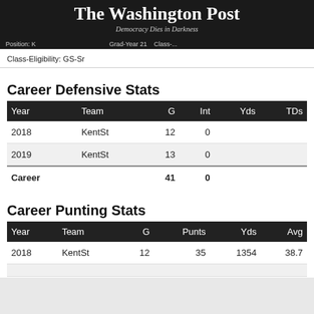The Washington Post
Democracy Dies in Darkness
Class-Eligibility: GS-Sr
Career Defensive Stats
| Year | Team | G | Int | Yds | TDs |
| --- | --- | --- | --- | --- | --- |
| 2018 | KentSt | 12 | 0 |  |  |
| 2019 | KentSt | 13 | 0 |  |  |
| Career |  | 41 | 0 |  |  |
Career Punting Stats
| Year | Team | G | Punts | Yds | Avg |
| --- | --- | --- | --- | --- | --- |
| 2018 | KentSt | 12 | 35 | 1354 | 38.7 |